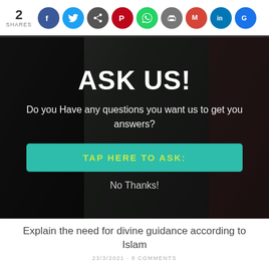2 SHARES — social share bar with Facebook, Twitter, Share, Pinterest, WhatsApp, Print, Gmail, LinkedIn, Google icons
[Figure (infographic): Dark overlay hero image showing a person in white clothing. Overlaid text reads 'ASK US!' with subtitle 'Do you Have any questions you want us to get you answers?' and a teal button 'TAP HERE TO ASK:' and 'No Thanks!' link below.]
Explain the need for divine guidance according to Islam
23/3/2021 · 8 COMMENTS